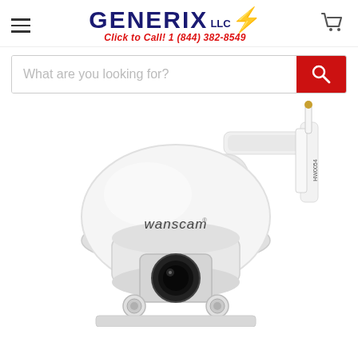[Figure (logo): Generix LLC logo with lightning bolt and tagline 'Click to Call! 1 (844) 382-8549']
[Figure (screenshot): Search bar with placeholder text 'What are you looking for?' and red search button]
[Figure (photo): Wanscam branded white PTZ security dome camera mounted on a wall bracket, model HW0054, shown from front-below angle revealing lens and IR LEDs]